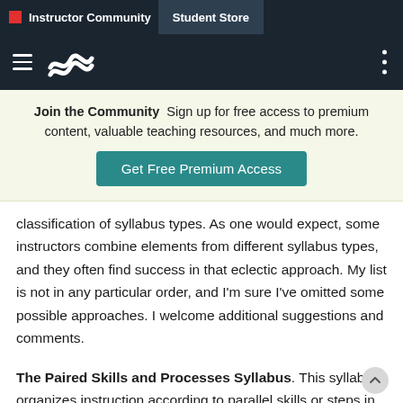Instructor Community | Student Store
[Figure (screenshot): Navigation bar with hamburger menu, wave logo, and three-dot menu on dark background]
Join the Community  Sign up for free access to premium content, valuable teaching resources, and much more. [Get Free Premium Access button]
classification of syllabus types. As one would expect, some instructors combine elements from different syllabus types, and they often find success in that eclectic approach. My list is not in any particular order, and I'm sure I've omitted some possible approaches. I welcome additional suggestions and comments.
The Paired Skills and Processes Syllabus. This syllabus organizes instruction according to parallel skills or steps in the reading and writing processes. For example, pre-reading